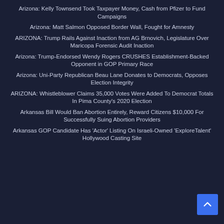Arizona: Kelly Townsend Took Taxpayer Money, Cash from Pfizer to Fund Campaigns
Arizona: Matt Salmon Opposed Border Wall, Fought for Amnesty
ARIZONA: Trump Rails Against Inaction from AG Brnovich, Legislature Over Maricopa Forensic Audit Inaction
Arizona: Trump-Endorsed Wendy Rogers CRUSHES Establishment-Backed Opponent in GOP Primary Race
Arizona: Uni-Party Republican Beau Lane Donates to Democrats, Opposes Election Integrity
ARIZONA: Whistleblower Claims 35,000 Votes Were Added To Democrat Totals In Pima County's 2020 Election
Arkansas Bill Would Ban Abortion Entirely, Reward Citizens $10,000 For Successfully Suing Abortion Providers
Arkansas GOP Candidate Has 'Actor' Listing On Israeli-Owned 'ExploreTalent' Hollywood Casting Site